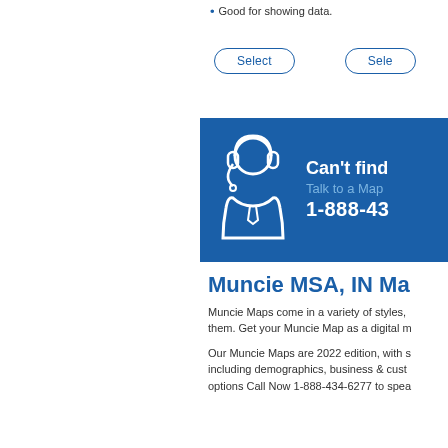Good for showing data.
Great as...
[Figure (screenshot): Two Select buttons with rounded border outlines in blue]
[Figure (infographic): Blue banner with customer support agent icon (person with headset). Text: Can't find... Talk to a Map... 1-888-43...]
Muncie MSA, IN Ma...
Muncie Maps come in a variety of styles, them. Get your Muncie Map as a digital m...
Our Muncie Maps are 2022 edition, with s including demographics, business & cust options Call Now 1-888-434-6277 to spea...